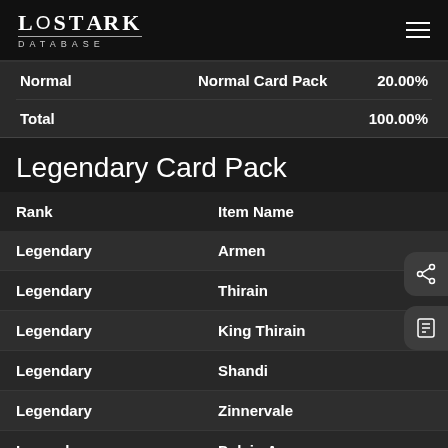LOSTARK DATABASE
| Rank | Item Name |  |
| --- | --- | --- |
| Normal | Normal Card Pack | 20.00% |
| Total |  | 100.00% |
Legendary Card Pack
| Rank | Item Name |
| --- | --- |
| Legendary | Armen |
| Legendary | Thirain |
| Legendary | King Thirain |
| Legendary | Shandi |
| Legendary | Zinnervale |
| Legendary | Delain Armen |
| Legendary | Wei |